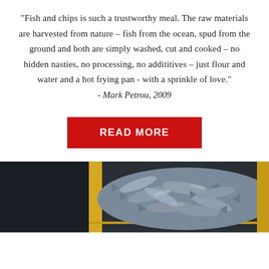"Fish and chips is such a trustworthy meal. The raw materials are harvested from nature – fish from the ocean, spud from the ground and both are simply washed, cut and cooked – no hidden nasties, no processing, no addititives – just flour and water and a hot frying pan - with a sprinkle of love."
- Mark Petrou, 2009
READ MORE
[Figure (photo): Overhead view of fresh fish (small silvery fish) piled in a yellow plastic crate/bin against a dark background]